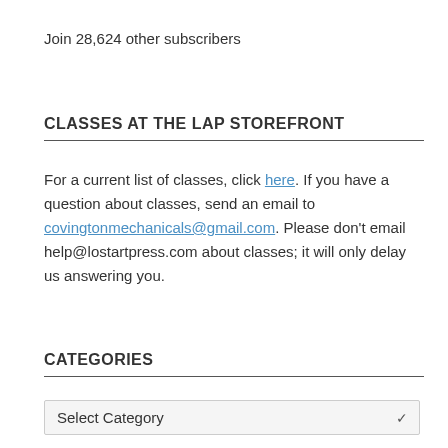Join 28,624 other subscribers
CLASSES AT THE LAP STOREFRONT
For a current list of classes, click here. If you have a question about classes, send an email to covingtonmechanicals@gmail.com. Please don't email help@lostartpress.com about classes; it will only delay us answering you.
CATEGORIES
Select Category